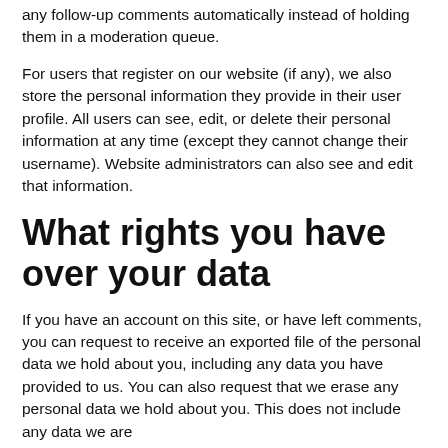any follow-up comments automatically instead of holding them in a moderation queue.
For users that register on our website (if any), we also store the personal information they provide in their user profile. All users can see, edit, or delete their personal information at any time (except they cannot change their username). Website administrators can also see and edit that information.
What rights you have over your data
If you have an account on this site, or have left comments, you can request to receive an exported file of the personal data we hold about you, including any data you have provided to us. You can also request that we erase any personal data we hold about you. This does not include any data we are